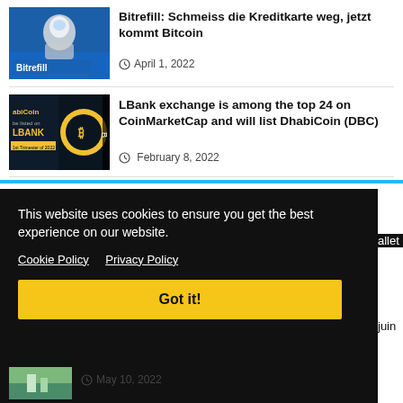[Figure (photo): Bitrefill promotional image showing astronaut on blue background]
Bitrefill: Schmeiss die Kreditkarte weg, jetzt kommt Bitcoin
April 1, 2022
[Figure (photo): LBank exchange promotional image with DhabiCoin logo on dark background]
LBank exchange is among the top 24 on CoinMarketCap and will list DhabiCoin (DBC)
February 8, 2022
This website uses cookies to ensure you get the best experience on our website.
Cookie Policy   Privacy Policy
Got it!
allet
juin
May 10, 2022